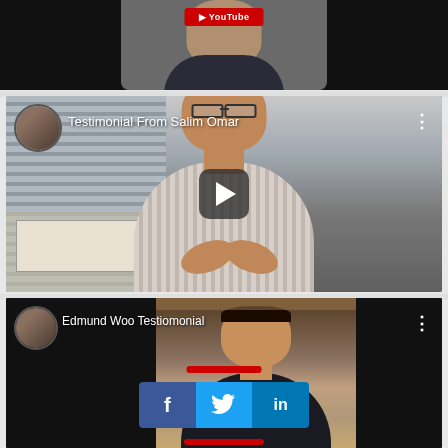[Figure (screenshot): YouTube video thumbnail (partial/cropped at top) showing a person in a dark hoodie with a red YouTube play button overlay]
[Figure (screenshot): YouTube embedded video titled 'Testimonial From Salim Omar' showing a man in a striped shirt seated in an office with blinds, YouTube play button in center, channel avatar and title in top-left, three-dot menu top-right]
[Figure (screenshot): YouTube embedded video titled 'Edmund Woo Testiomonial' showing a man in a dark shirt in a warmly lit setting, channel avatar and title in top-left, three-dot menu top-right, social sharing buttons (Facebook, Twitter, LinkedIn) overlaid in center, red YouTube play strip at bottom and top]